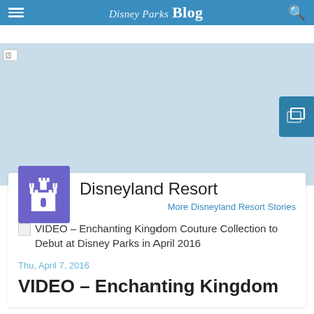Disney Parks Blog
[Figure (photo): Hero image placeholder with light blue background, image failed to load (broken image icon visible in top-left corner). Slideshow button on right side.]
Disneyland Resort
More Disneyland Resort Stories
VIDEO – Enchanting Kingdom Couture Collection to Debut at Disney Parks in April 2016
Thu, April 7, 2016
VIDEO – Enchanting Kingdom